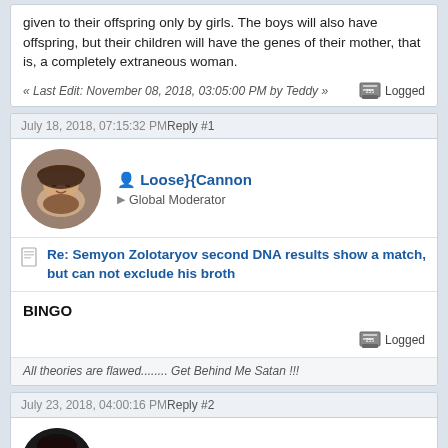given to their offspring only by girls. The boys will also have offspring, but their children will have the genes of their mother, that is, a completely extraneous woman.
« Last Edit: November 08, 2018, 03:05:00 PM by Teddy »   Logged
July 18, 2018, 07:15:32 PM Reply #1
[Figure (photo): Circular avatar photo of user Loose}{Cannon, a bearded man wearing a hat]
Loose}{Cannon
Global Moderator
Re: Semyon Zolotaryov second DNA results show a match, but can not exclude his broth
BINGO
Logged
All theories are flawed........ Get Behind Me Satan !!!
July 23, 2018, 04:00:16 PM Reply #2
[Figure (photo): Circular avatar photo of user CalzagheChick]
CalzagheChick